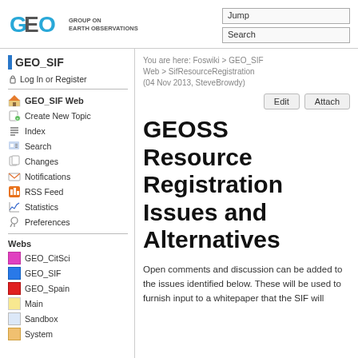GROUP ON EARTH OBSERVATIONS | Jump | Search
GEO_SIF
Log In or Register
GEO_SIF Web
Create New Topic
Index
Search
Changes
Notifications
RSS Feed
Statistics
Preferences
Webs
GEO_CitSci
GEO_SIF
GEO_Spain
Main
Sandbox
System
You are here: Foswiki > GEO_SIF Web > SifResourceRegistration (04 Nov 2013, SteveBrowdy)
GEOSS Resource Registration Issues and Alternatives
Open comments and discussion can be added to the issues identified below. These will be used to furnish input to a whitepaper that the SIF will